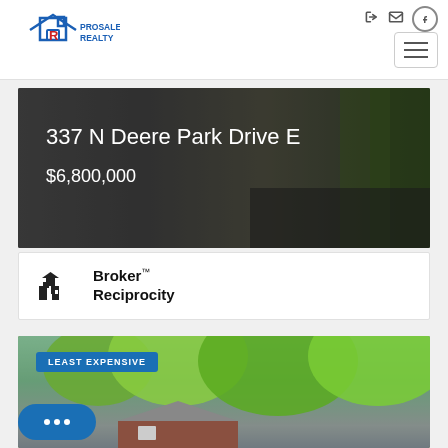[Figure (logo): ProSales Realty logo — house outline with R letter in red, text PROSALES REALTY in blue]
[Figure (photo): Property listing photo for 337 N Deere Park Drive E — aerial/street view of a driveway with green lawn, dark overlay text showing address and price]
337 N Deere Park Drive E
$6,800,000
[Figure (logo): Broker Reciprocity logo — small house icon with text Broker Reciprocity]
[Figure (photo): Property listing photo tagged LEAST EXPENSIVE — suburban ranch brick house with green trees in background]
[Figure (other): Chat button with three dots]